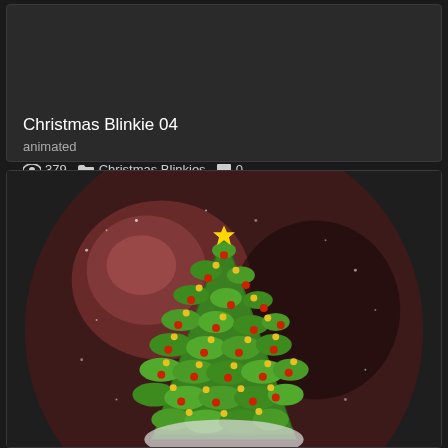Christmas Blinkie 04
animated
379  Christmas Blinkies  0
[Figure (photo): A circular Christmas ornament ball showing a green Christmas tree decorated with red and yellow/gold ornaments inside, set against a dark brown/maroon textured ball background with a white base, partially shown cropped at the bottom of the image.]